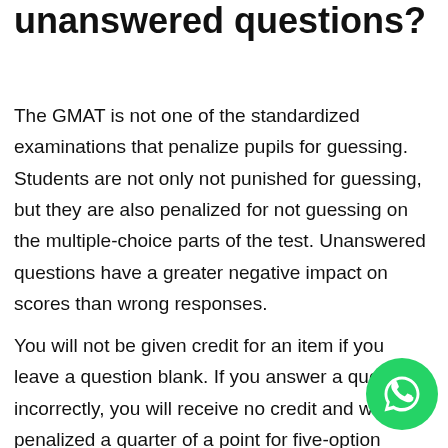unanswered questions?
The GMAT is not one of the standardized examinations that penalize pupils for guessing. Students are not only not punished for guessing, but they are also penalized for not guessing on the multiple-choice parts of the test. Unanswered questions have a greater negative impact on scores than wrong responses.
You will not be given credit for an item if you leave a question blank. If you answer a question incorrectly, you will receive no credit and will be penalized a quarter of a point for five-option multiple-choice questions and one-